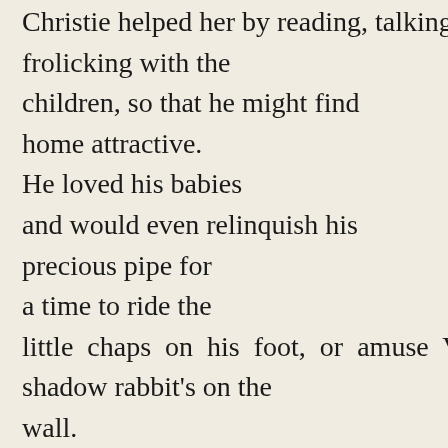Christie helped her by reading, talking, and frolicking with the children, so that he might find home attractive. He loved his babies and would even relinquish his precious pipe for a time to ride the little chaps on his foot, or amuse Vic with shadow rabbit's on the wall.
At such times the entire content in Mrs. Wilkins's face made tobacco fumes endurable, and the burden of a dull man's presence less